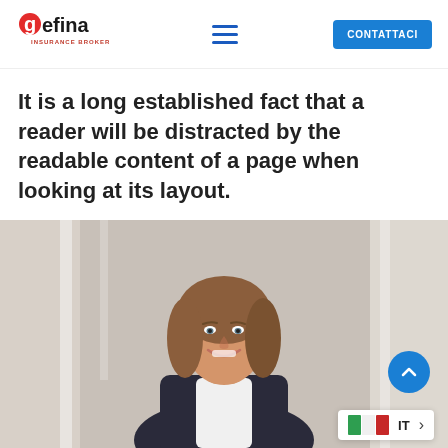gefina INSURANCE BROKER — CONTATTACI
It is a long established fact that a reader will be distracted by the readable content of a page when looking at its layout.
[Figure (photo): Professional woman with brown hair smiling, photographed in a bright interior setting, wearing a dark blazer over a white shirt.]